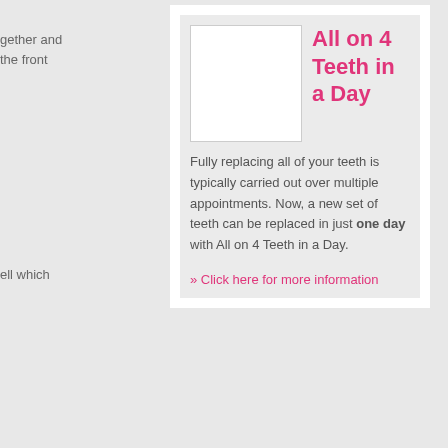gether and the front
ell which
All on 4 Teeth in a Day
[Figure (photo): White image placeholder for All on 4 Teeth in a Day dental procedure]
Fully replacing all of your teeth is typically carried out over multiple appointments. Now, a new set of teeth can be replaced in just one day with All on 4 Teeth in a Day.
» Click here for more information
avourite
ned on an h of the